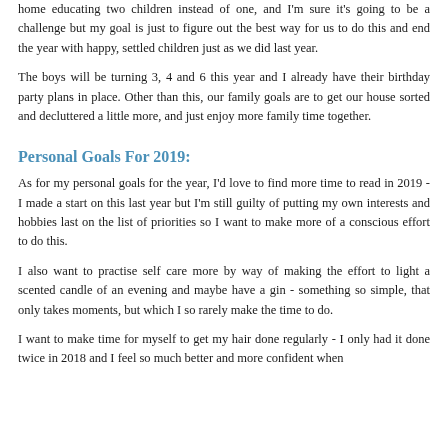home educating two children instead of one, and I'm sure it's going to be a challenge but my goal is just to figure out the best way for us to do this and end the year with happy, settled children just as we did last year.
The boys will be turning 3, 4 and 6 this year and I already have their birthday party plans in place. Other than this, our family goals are to get our house sorted and decluttered a little more, and just enjoy more family time together.
Personal Goals For 2019:
As for my personal goals for the year, I'd love to find more time to read in 2019 - I made a start on this last year but I'm still guilty of putting my own interests and hobbies last on the list of priorities so I want to make more of a conscious effort to do this.
I also want to practise self care more by way of making the effort to light a scented candle of an evening and maybe have a gin - something so simple, that only takes moments, but which I so rarely make the time to do.
I want to make time for myself to get my hair done regularly - I only had it done twice in 2018 and I feel so much better and more confident when